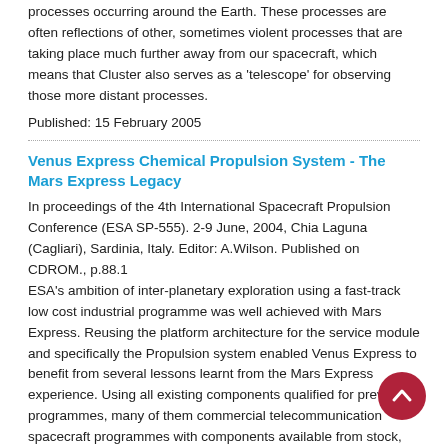processes occurring around the Earth. These processes are often reflections of other, sometimes violent processes that are taking place much further away from our spacecraft, which means that Cluster also serves as a 'telescope' for observing those more distant processes.
Published: 15 February 2005
Venus Express Chemical Propulsion System - The Mars Express Legacy
In proceedings of the 4th International Spacecraft Propulsion Conference (ESA SP-555). 2-9 June, 2004, Chia Laguna (Cagliari), Sardinia, Italy. Editor: A.Wilson. Published on CDROM., p.88.1
ESA's ambition of inter-planetary exploration using a fast-track low cost industrial programme was well achieved with Mars Express. Reusing the platform architecture for the service module and specifically the Propulsion system enabled Venus Express to benefit from several lessons learnt from the Mars Express experience. Using all existing components qualified for previous programmes, many of them commercial telecommunication spacecraft programmes with components available from stock, an industrial organisation familiar from Mars Express was able to compress the schedule to make the November 2005 launch window a realistic target. While initial inspection of the CPS schematic indicates a modified Eurostar